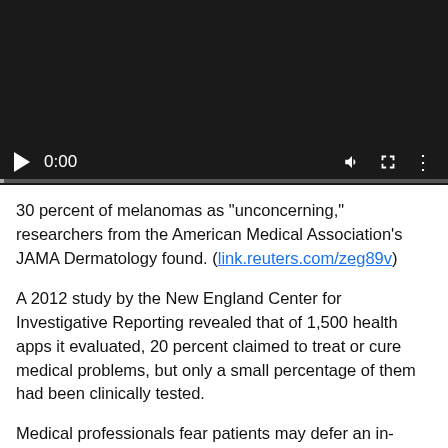[Figure (screenshot): Video player with dark background showing play button, 0:00 timestamp, volume icon, fullscreen icon, and more options icon, with a progress bar at the bottom.]
30 percent of melanomas as "unconcerning," researchers from the American Medical Association's JAMA Dermatology found. (link.reuters.com/zeg89v)
A 2012 study by the New England Center for Investigative Reporting revealed that of 1,500 health apps it evaluated, 20 percent claimed to treat or cure medical problems, but only a small percentage of them had been clinically tested.
Medical professionals fear patients may defer an in-person checkup because of faulty results. By the time they see a doctor it may be too late. A false negative for cancer, for